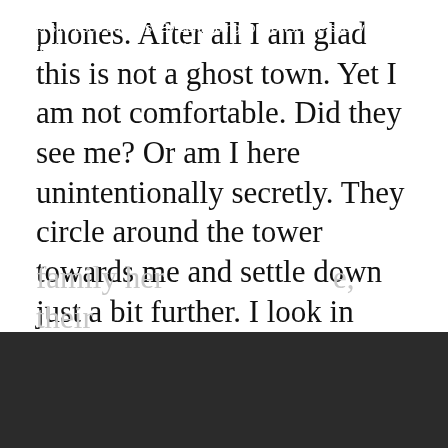phones. After all I am glad this is not a ghost town. Yet I am not comfortable. Did they see me? Or am I here unintentionally secretly. They circle around the tower towards me and settle down just a bit further. I look in their direction and see a young man in black sitting down. He doesn't look back. I sniff my nose, a bit too loud and look again. No response. Then I lean backward and watch the sun go down. I try to eavesdrop on their conversation but the French doesn't make sense to me.
This site uses cookies. By continuing to browse the site, you are agreeing to our use of cookies.
family here, their home. How do you get here?